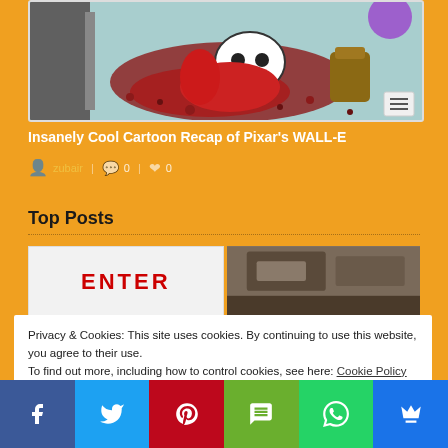[Figure (illustration): Cartoon/comic style illustration showing animated characters in a WALL-E themed scene with a skull-like robot and red/maroon colors, partial image at top of page]
Insanely Cool Cartoon Recap of Pixar's WALL-E
zubair | 0 | 0
Top Posts
[Figure (photo): Two thumbnail images side by side - left shows text reading ENTER in red, right shows a blurry photo]
Privacy & Cookies: This site uses cookies. By continuing to use this website, you agree to their use.
To find out more, including how to control cookies, see here: Cookie Policy